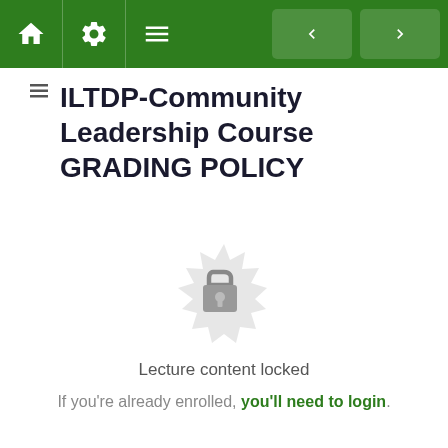[Figure (screenshot): Green navigation bar with home icon, settings icon, menu icon on left, and two navigation buttons (back/forward arrows) on right]
ILTDP-Community Leadership Course GRADING POLICY
[Figure (illustration): Lock icon centered on a decorative circular badge/seal shape in light gray, indicating locked content]
Lecture content locked
If you're already enrolled, you'll need to login.